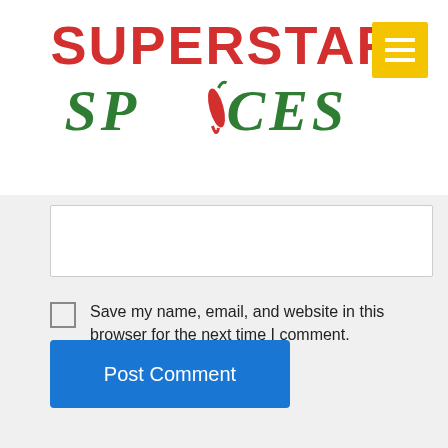[Figure (logo): Superstar Spices logo with red bold SUPERSTAR text and green italic SPICES text with a chili pepper replacing the letter I]
Save my name, email, and website in this browser for the next time I comment.
Post Comment